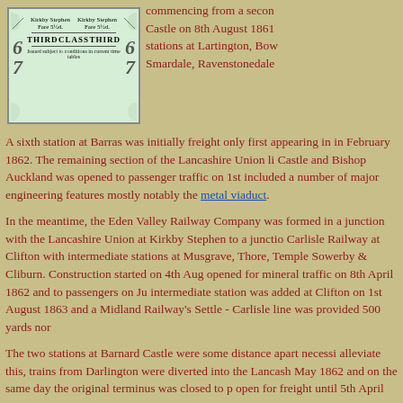[Figure (photo): A green railway ticket for Kirkby Stephen, Third Class, Fare 5½d., issued subject to conditions in current time tables, with decorative border and number 67.]
commencing from a second Castle on 8th August 1861 stations at Lartington, Bow Smardale, Ravenstonedale
A sixth station at Barras was initially freight only first appearing in in February 1862. The remaining section of the Lancashire Union li Castle and Bishop Auckland was opened to passenger traffic on 1st included a number of major engineering features mostly notably the metal viaduct.
In the meantime, the Eden Valley Railway Company was formed in a junction with the Lancashire Union at Kirkby Stephen to a junctio Carlisle Railway at Clifton with intermediate stations at Musgrave, Thore, Temple Sowerby & Cliburn. Construction started on 4th Aug opened for mineral traffic on 8th April 1862 and to passengers on Ju intermediate station was added at Clifton on 1st August 1863 and a Midland Railway's Settle - Carlisle line was provided 500 yards nor
The two stations at Barnard Castle were some distance apart necessi alleviate this, trains from Darlington were diverted into the Lancash May 1862 and on the same day the original terminus was closed to p open for freight until 5th April 1965.
Both the Lancashire Union and the Eden Valley lines were worked b Darlington Railway from the outset and that company took them ov